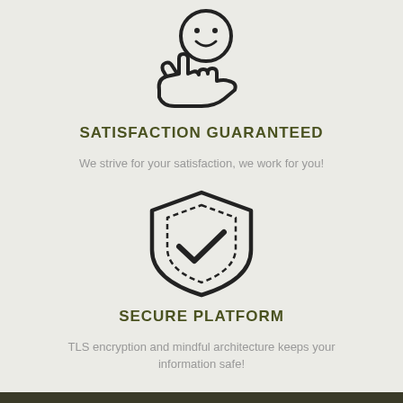[Figure (illustration): Line-art icon of a smiley face resting on an open hand, representing satisfaction]
SATISFACTION GUARANTEED
We strive for your satisfaction, we work for you!
[Figure (illustration): Line-art icon of a shield with a checkmark inside, representing security]
SECURE PLATFORM
TLS encryption and mindful architecture keeps your information safe!